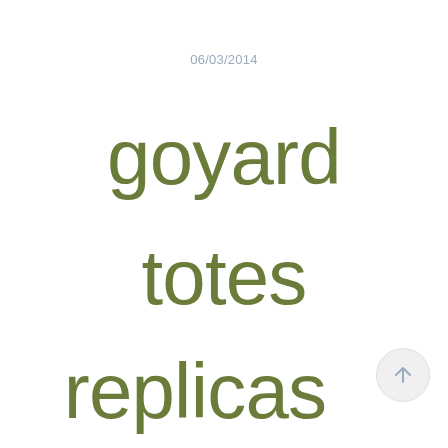06/03/2014
goyard
totes
replicas